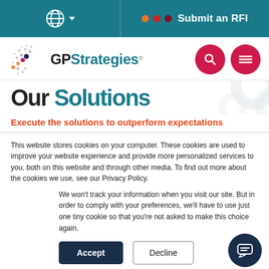Submit an RFI
[Figure (logo): GP Strategies logo with dot-pattern graphic and teal/dark color scheme]
Our Solutions
Execute the solutions to outperform expectations
This website stores cookies on your computer. These cookies are used to improve your website experience and provide more personalized services to you, both on this website and through other media. To find out more about the cookies we use, see our Privacy Policy.
We won't track your information when you visit our site. But in order to comply with your preferences, we'll have to use just one tiny cookie so that you're not asked to make this choice again.
Accept | Decline